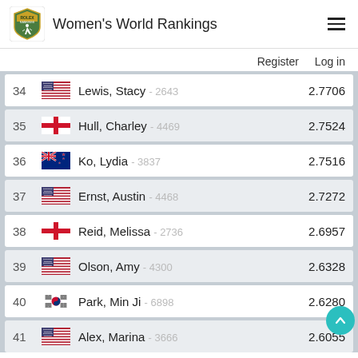Women's World Rankings
Register   Log in
| Rank | Country | Player | Score |
| --- | --- | --- | --- |
| 34 | USA | Lewis, Stacy - 2643 | 2.7706 |
| 35 | ENG | Hull, Charley - 4469 | 2.7524 |
| 36 | NZL | Ko, Lydia - 3837 | 2.7516 |
| 37 | USA | Ernst, Austin - 4468 | 2.7272 |
| 38 | ENG | Reid, Melissa - 2736 | 2.6957 |
| 39 | USA | Olson, Amy - 4300 | 2.6328 |
| 40 | KOR | Park, Min Ji - 6898 | 2.6280 |
| 41 | USA | Alex, Marina - 3666 | 2.6055 |